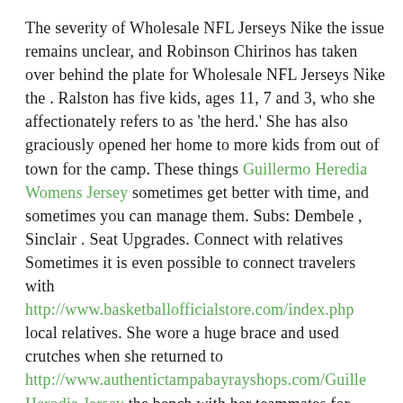The severity of Wholesale NFL Jerseys Nike the issue remains unclear, and Robinson Chirinos has taken over behind the plate for Wholesale NFL Jerseys Nike the . Ralston has five kids, ages 11, 7 and 3, who she affectionately refers to as 'the herd.' She has also graciously opened her home to more kids from out of town for the camp. These things Guillermo Heredia Womens Jersey sometimes get better with time, and sometimes you can manage them. Subs: Dembele , Sinclair . Seat Upgrades. Connect with relatives Sometimes it is even possible to connect travelers with http://www.basketballofficialstore.com/index.php local relatives. She wore a huge brace and used crutches when she returned to http://www.authentictampabayrayshops.com/Guillermo-Heredia-Jersey the bench with her teammates for